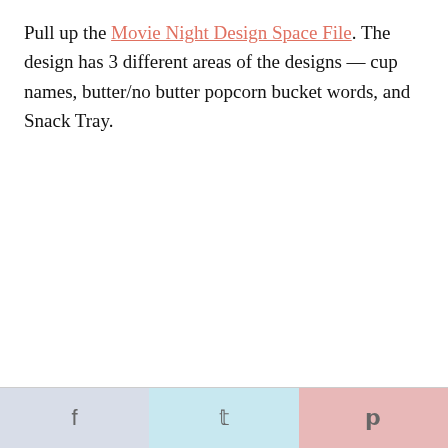Pull up the Movie Night Design Space File. The design has 3 different areas of the designs — cup names, butter/no butter popcorn bucket words, and Snack Tray.
Facebook | Twitter | Pinterest